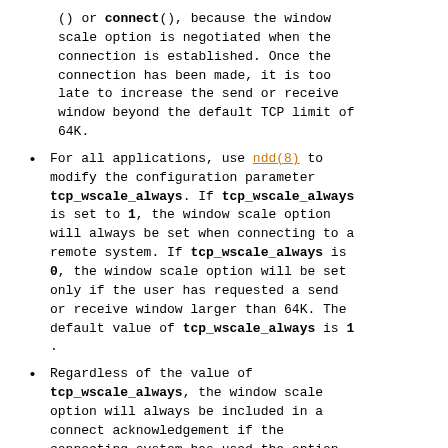() or connect(), because the window scale option is negotiated when the connection is established. Once the connection has been made, it is too late to increase the send or receive window beyond the default TCP limit of 64K.
For all applications, use ndd(8) to modify the configuration parameter tcp_wscale_always. If tcp_wscale_always is set to 1, the window scale option will always be set when connecting to a remote system. If tcp_wscale_always is 0, the window scale option will be set only if the user has requested a send or receive window larger than 64K. The default value of tcp_wscale_always is 1.
Regardless of the value of tcp_wscale_always, the window scale option will always be included in a connect acknowledgement if the connecting system has used the option.
Turn on SACK capabilities in the following way: